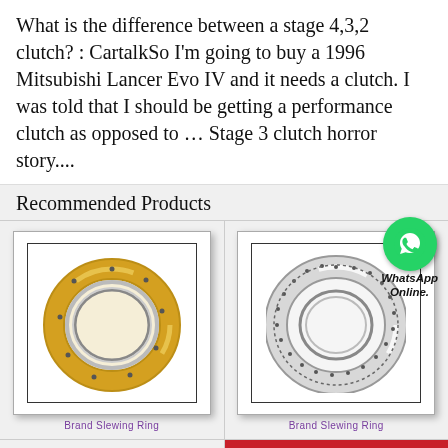What is the difference between a stage 4,3,2 clutch? : CartalkSo I'm going to buy a 1996 Mitsubishi Lancer Evo IV and it needs a clutch. I was told that I should be getting a performance clutch as opposed to … Stage 3 clutch horror story....
Recommended Products
[Figure (photo): Gold/bronze colored slewing ring bearing on white background inside a framed product card]
Brand Slewing Ring
[Figure (photo): Silver/chrome slewing ring bearing on white background inside a framed product card, with WhatsApp Online overlay]
Brand Slewing Ring
All Products
Contact Now